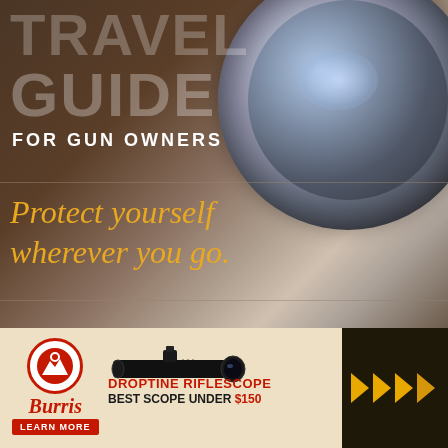TRAVEL GUIDE FOR GUN OWNERS
Protect yourself wherever you go.
[Figure (illustration): Advertisement for Burris Droptine Riflescope. Shows Burris logo (red circle with mountain), Burris brand name in red italic, LEARN MORE red button, image of a riflescope, text DROPTINE RIFLESCOPE and BEST SCOPE UNDER $150. Background is beige/cream. Right side has dark background with yellow/gold forward arrows.]